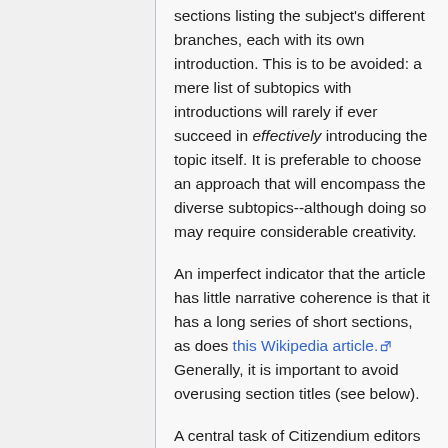sections listing the subject's different branches, each with its own introduction. This is to be avoided: a mere list of subtopics with introductions will rarely if ever succeed in effectively introducing the topic itself. It is preferable to choose an approach that will encompass the diverse subtopics--although doing so may require considerable creativity.
An imperfect indicator that the article has little narrative coherence is that it has a long series of short sections, as does this Wikipedia article. Generally, it is important to avoid overusing section titles (see below).
A central task of Citizendium editors is to provide leadership in deciding a unifying plan for articles on topics of their expertise. The plan can be discussed on